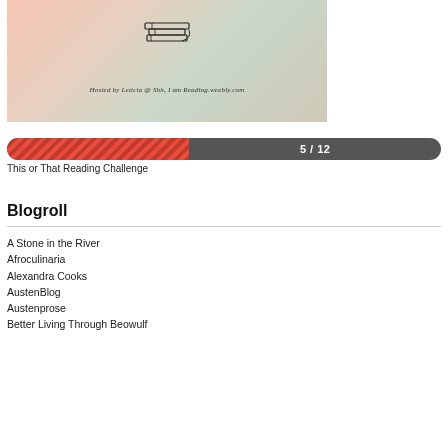[Figure (photo): Decorative image with flowers and stacked books illustration, with text 'Hosted by Leticia @ Shh, I am Reading.weebly.com']
[Figure (infographic): Progress bar showing 5/12 for This or That Reading Challenge]
This or That Reading Challenge
Blogroll
A Stone in the River
Afroculinaria
Alexandra Cooks
AustenBlog
Austenprose
Better Living Through Beowulf